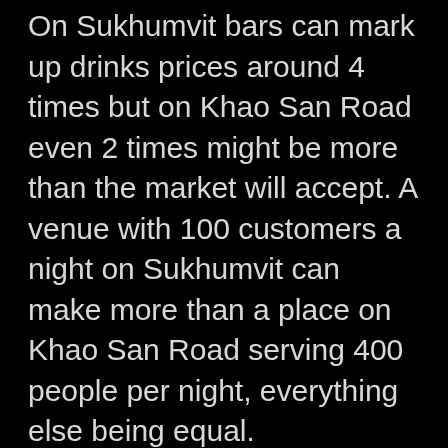On Sukhumvit bars can mark up drinks prices around 4 times but on Khao San Road even 2 times might be more than the market will accept. A venue with 100 customers a night on Sukhumvit can make more than a place on Khao San Road serving 400 people per night, everything else being equal.
Like other Bangkok nightlife areas, Khao San Road is sometimes closed down early. It is said that a high-ranking military officer's wife went to the cop shop one night in her pajamas screaming that she could not sleep because of all of the noise so the entire soi was closed even earlier than the law says venues must close!
Khao San Road may be one of the busiest